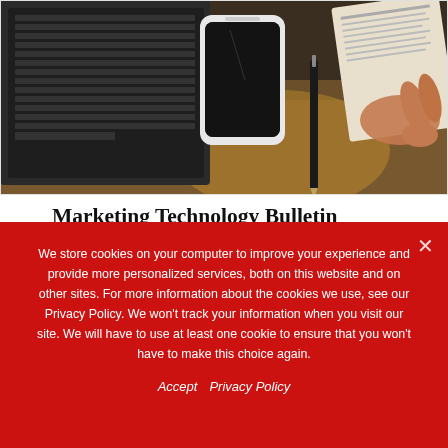[Figure (photo): Photo of a laptop computer, smartphone, pen, and a person holding a newspaper/document on a wooden desk, viewed from above.]
Marketing Technology Bulletin Covering the Week Gone By
Viraj T • Nov 16, 2018
Top Picks from MarTech Series. Original MarTech Insights from the Week Gone By Our staff writers compile a bulletin covering
We store cookies on your computer to improve your experience and provide more personalized services, both on this website and on other sites. For more information about the cookies we use, see our Privacy Policy. We won't track your information when you visit our site. We will have to use at least one cookie to ensure that you won't have to make this choice again.
Accept  Privacy Policy